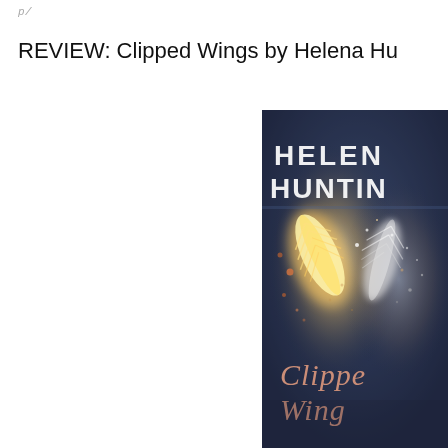p/
REVIEW: Clipped Wings by Helena Hu
[Figure (photo): Book cover of 'Clipped Wings' by Helena Hunting. Dark navy/slate blue background with glowing feathers in gold and white exploding outward with sparkles and light. Author name 'HELENA HUNTING' appears in large white text at top. Title 'Clipped Wings' appears in rose gold script lettering at the bottom.]